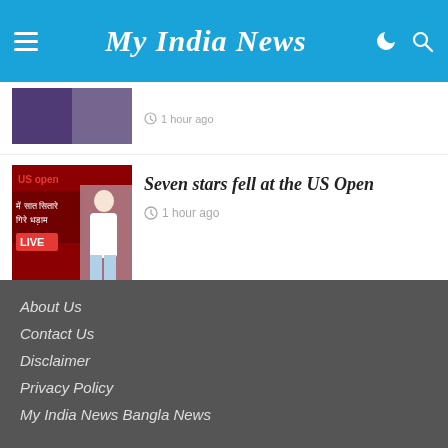My India News
[Figure (photo): Partially visible thumbnail image of a person]
1 hour ago
[Figure (photo): US Open thumbnail with text in Hindi: सात सितारे गिरे धड़ाम, LIVE label, tennis player image]
Seven stars fell at the US Open
1 hour ago
About Us
Contact Us
Disclaimer
Privacy Policy
My India News Bangla News